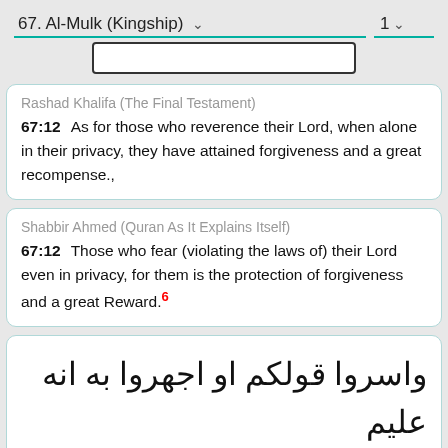67. Al-Mulk (Kingship)  1
Rashad Khalifa (The Final Testament)
67:12    As for those who reverence their Lord, when alone in their privacy, they have attained forgiveness and a great recompense.,
Shabbir Ahmed (Quran As It Explains Itself)
67:12    Those who fear (violating the laws of) their Lord even in privacy, for them is the protection of forgiveness and a great Reward.6
67:13 واسروا قولكم او اجهروا به انه عليم بذات الصدور